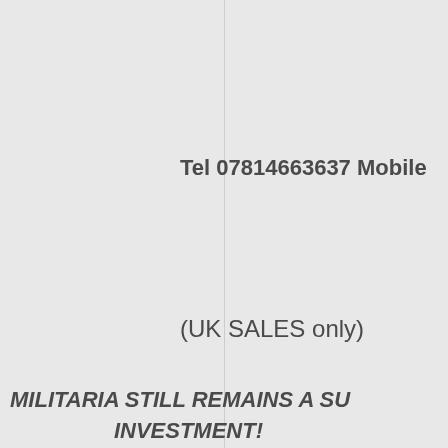Tel 07814663637 Mobile
(UK SALES only)
MILITARIA STILL REMAINS A SU... INVESTMENT!